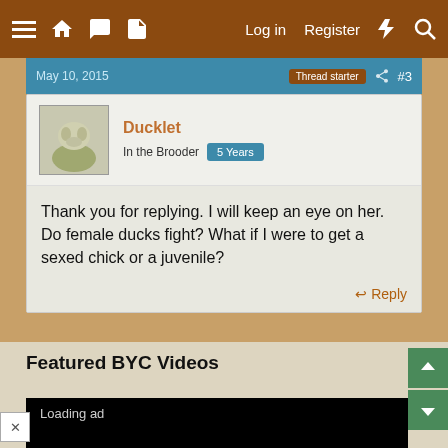≡ 🏠 💬 📄   Log in   Register   ⚡ 🔍
May 10, 2015   Thread starter   #3
Ducklet
In the Brooder  5 Years
Thank you for replying. I will keep an eye on her. Do female ducks fight? What if I were to get a sexed chick or a juvenile?
↩ Reply
Featured BYC Videos
[Figure (screenshot): Black video loading area with 'Loading ad' text]